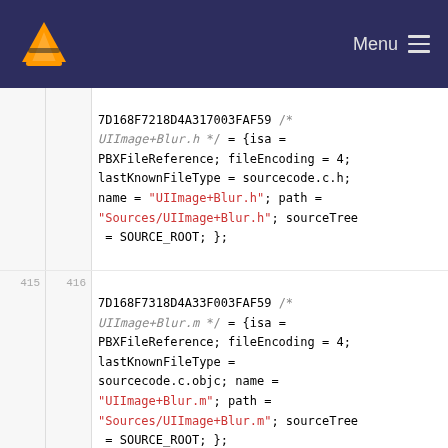VLC Menu
7D168F7218D4A317003FAF59 /* UIImage+Blur.h */ = {isa = PBXFileReference; fileEncoding = 4; lastKnownFileType = sourcecode.c.h; name = "UIImage+Blur.h"; path = "Sources/UIImage+Blur.h"; sourceTree = SOURCE_ROOT; };
7D168F7318D4A33F003FAF59 /* UIImage+Blur.m */ = {isa = PBXFileReference; fileEncoding = 4; lastKnownFileType = sourcecode.c.objc; name = "UIImage+Blur.m"; path = "Sources/UIImage+Blur.m"; sourceTree = SOURCE_ROOT; };
7D18F0A01B34522000651A30 /* VLCActivityManager.h */ = {isa =